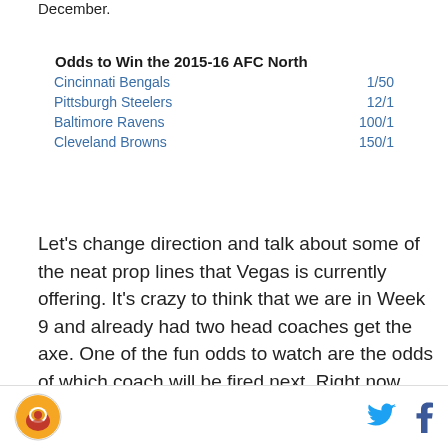December.
| Odds to Win the 2015-16 AFC North |  |
| --- | --- |
| Cincinnati Bengals | 1/50 |
| Pittsburgh Steelers | 12/1 |
| Baltimore Ravens | 100/1 |
| Cleveland Browns | 150/1 |
Let's change direction and talk about some of the neat prop lines that Vegas is currently offering. It's crazy to think that we are in Week 9 and already had two head coaches get the axe. One of the fun odds to watch are the odds of which coach will be fired next. Right now Jim Caldwell is leading the way at 1 to 2, which basically means that Vegas thinks he could be fired as early as next week. I however, think the more likely